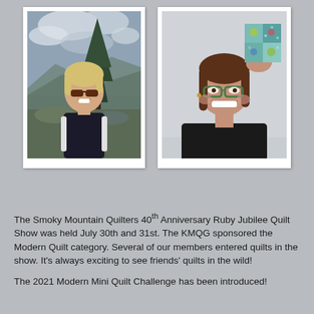[Figure (photo): A woman with blonde hair and sunglasses outdoors on a mountain with trees and cloudy sky in the background, wearing a backpack.]
[Figure (photo): A woman with brown hair and green glasses smiling and holding up a small quilted fabric piece in blue and green tones.]
The Smoky Mountain Quilters 40th Anniversary Ruby Jubilee Quilt Show was held July 30th and 31st. The KMQG sponsored the Modern Quilt category. Several of our members entered quilts in the show. It's always exciting to see friends' quilts in the wild!
The 2021 Modern Mini Quilt Challenge has been introduced!